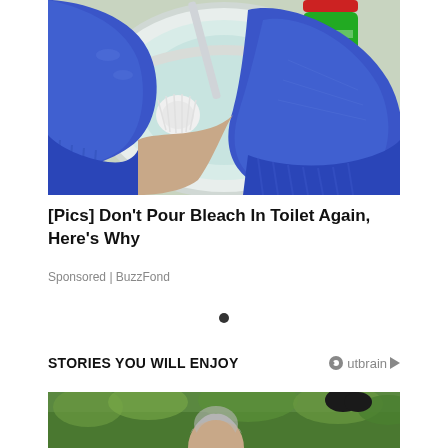[Figure (photo): Person wearing blue rubber gloves cleaning a toilet bowl with a brush, holding a green cleaning product bottle]
[Pics] Don't Pour Bleach In Toilet Again, Here's Why
Sponsored | BuzzFond
STORIES YOU WILL ENJOY
[Figure (photo): Partially visible person with gray hair outdoors in green landscape]